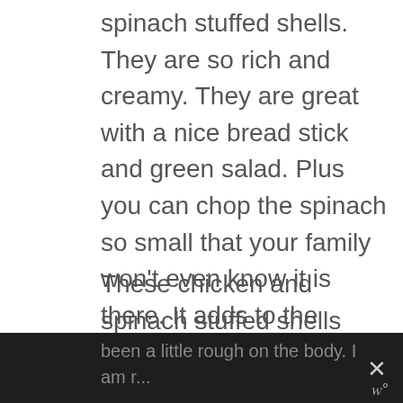spinach stuffed shells. They are so rich and creamy. They are great with a nice bread stick and green salad. Plus you can chop the spinach so small that your family won't even know it is there. It adds to the amazing flavor, with just the right amount of Italian seasoning.
These chicken and spinach stuffed shells work up fast and while they are cooking in the oven, you can make a nice green salad, garlic bread or a nice bread stick.
I don't know about you but February has been a little rough on the body. I am r...